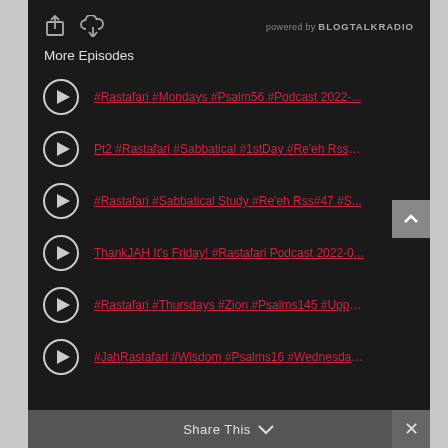[Figure (screenshot): BlogTalkRadio podcast player widget with dark theme showing More Episodes list]
More Episodes
#Rastafari #Mondays #Psalm56 #Podcast 2022-...
Pt2 #Rastafari #Sabbatical #1stDay #Re'eh Rss#...
#Rastafari #Sabbatical Study #Re'eh Rss#47 #S...
ThankJAH It's Friday! #Rastafari Podcast 2022-0...
#Rastafari #Thursdays #Zion #Psalms145 #Uppe...
#JahRastafari #Wisdom #Psalms16 #Wednesday...
Share This